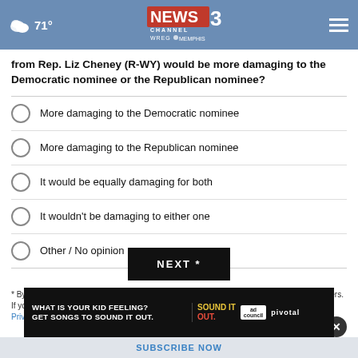71° NEWS CHANNEL 3 WREG MEMPHIS
from Rep. Liz Cheney (R-WY) would be more damaging to the Democratic nominee or the Republican nominee?
More damaging to the Democratic nominee
More damaging to the Republican nominee
It would be equally damaging for both
It wouldn't be damaging to either one
Other / No opinion
NEXT *
* By clicking "NEXT" you agree to the following: We use cookies to track your survey answers. If you would like to continue with this survey, please read and agree to the CivicScience Privacy Policy and Terms of Service
[Figure (screenshot): Advertisement banner: WHAT IS YOUR KID FEELING? GET SONGS TO SOUND IT OUT. Sound It Out. ad council. pivotal.]
SUBSCRIBE NOW